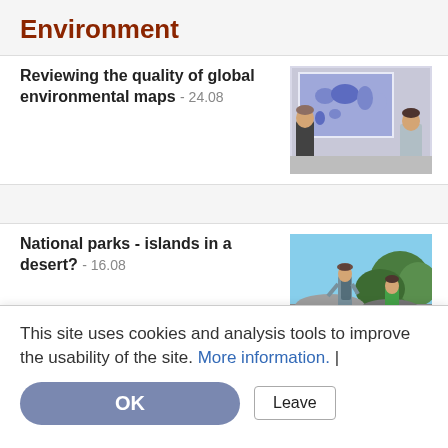Environment
Reviewing the quality of global environmental maps - 24.08
[Figure (photo): Two people standing in front of a large screen showing a world map with purple/blue coloring]
National parks - islands in a desert? - 16.08
[Figure (photo): Person with backpack standing on rocky terrain outdoors, another person in green shirt visible behind]
This site uses cookies and analysis tools to improve the usability of the site. More information. |
OK
Leave